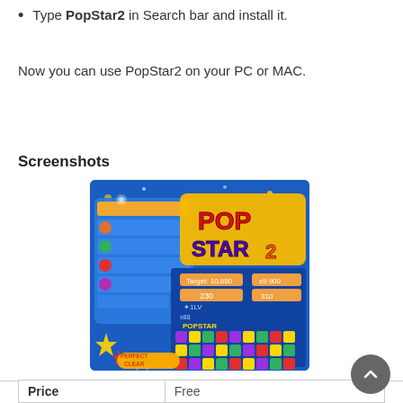Type PopStar2 in Search bar and install it.
Now you can use PopStar2 on your PC or MAC.
Screenshots
[Figure (screenshot): PopStar2 game screenshot showing colorful star blocks, 'POP STAR 2' logo, game interface with score panels, and 'PERFECT CLEAR' overlay on a blue background.]
| Price | Free |
| --- | --- |